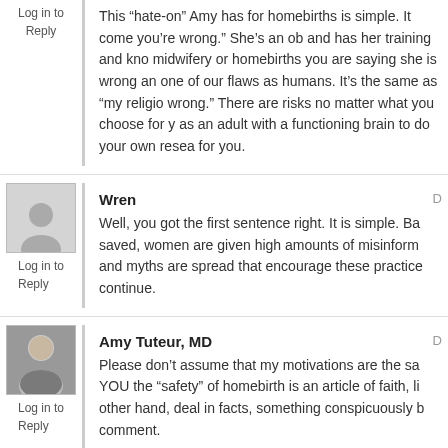This “hate-on” Amy has for homebirths is simple. It come you’re wrong.” She’s an ob and has her training and kno midwifery or homebirths you are saying she is wrong an one of our flaws as humans. It’s the same as “my religio wrong.” There are risks no matter what you choose for y as an adult with a functioning brain to do your own resea for you.
Log in to Reply
Wren
Well, you got the first sentence right. It is simple. Ba saved, women are given high amounts of misinform and myths are spread that encourage these practice continue.
Log in to Reply
Amy Tuteur, MD
Please don’t assume that my motivations are the sa YOU the “safety” of homebirth is an article of faith, li other hand, deal in facts, something conspicuously b comment.
Log in to Reply